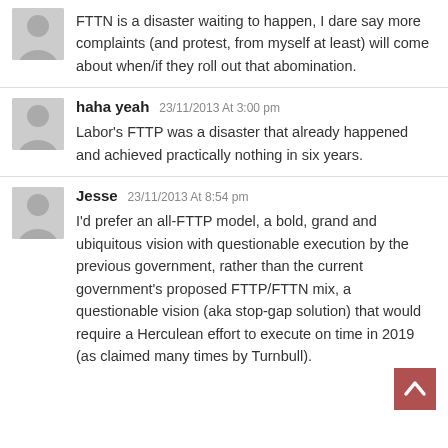FTTN is a disaster waiting to happen, I dare say more complaints (and protest, from myself at least) will come about when/if they roll out that abomination.
haha yeah 23/11/2013 At 3:00 pm
Labor's FTTP was a disaster that already happened and achieved practically nothing in six years.
Jesse 23/11/2013 At 8:54 pm
I'd prefer an all-FTTP model, a bold, grand and ubiquitous vision with questionable execution by the previous government, rather than the current government's proposed FTTP/FTTN mix, a questionable vision (aka stop-gap solution) that would require a Herculean effort to execute on time in 2019 (as claimed many times by Turnbull).